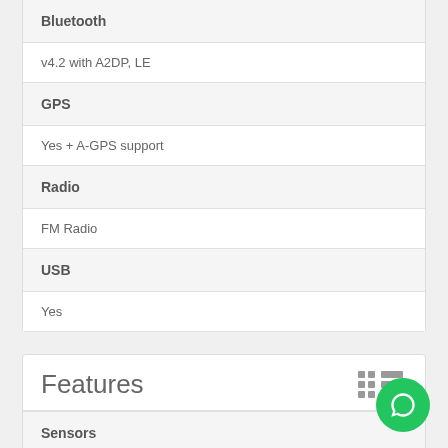Bluetooth
v4.2 with A2DP, LE
GPS
Yes + A-GPS support
Radio
FM Radio
USB
Yes
Features
Sensors
G Sensor, Light Sensor, Proximity